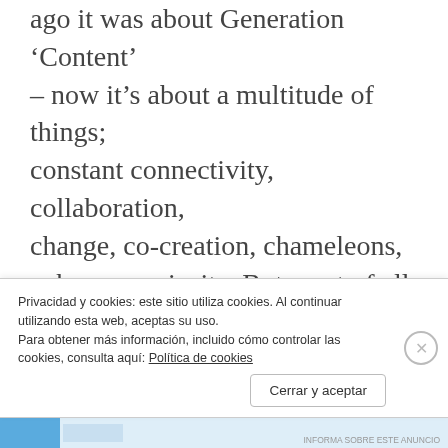ago it was about Generation ‘Content’ – now it’s about a multitude of things; constant connectivity, collaboration, change, co-creation, chameleons, cyborgs, curiosity. But most of all, Gen C is the ‘Connected Collective’ consumer,” Mr. Pankraz explained.
Gen C is not a target audience but a community of digital natives that will
Privacidad y cookies: este sitio utiliza cookies. Al continuar utilizando esta web, aceptas su uso.
Para obtener más información, incluido cómo controlar las cookies, consulta aquí: Política de cookies
Cerrar y aceptar